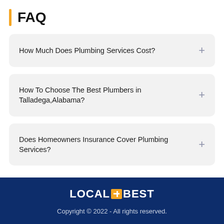FAQ
How Much Does Plumbing Services Cost?
How To Choose The Best Plumbers in Talladega,Alabama?
Does Homeowners Insurance Cover Plumbing Services?
[Figure (logo): LocalBest logo with orange square icon between LOCAL and BEST text]
Copyright © 2022 - All rights reserved.
Home
Sitemap